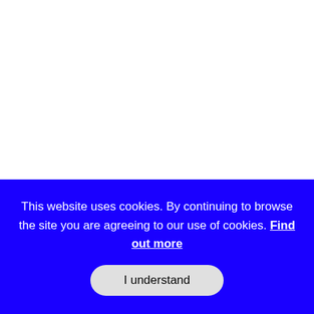Das Keyboard 4 Professional Summary
Das Keyboards have a reputation for making great
This website uses cookies. By continuing to browse the site you are agreeing to our use of cookies. Find out more
I understand